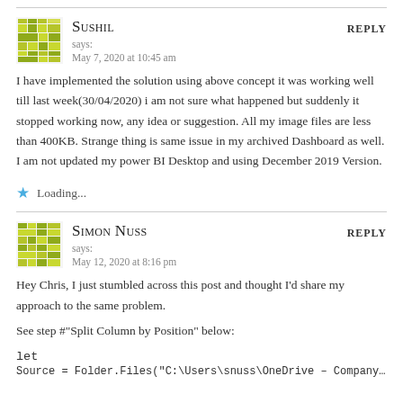[Figure (illustration): Green geometric/mosaic avatar icon for user Sushil]
Sushil says:
May 7, 2020 at 10:45 am
REPLY
I have implemented the solution using above concept it was working well till last week(30/04/2020) i am not sure what happened but suddenly it stopped working now, any idea or suggestion. All my image files are less than 400KB. Strange thing is same issue in my archived Dashboard as well. I am not updated my power BI Desktop and using December 2019 Version.
Loading...
[Figure (illustration): Green geometric/mosaic avatar icon for user Simon Nuss]
Simon Nuss says:
May 12, 2020 at 8:16 pm
REPLY
Hey Chris, I just stumbled across this post and thought I'd share my approach to the same problem.
See step #"Split Column by Position" below:
let
Source = Folder.Files("C:\Users\snuss\OneDrive - Company\Desktop")